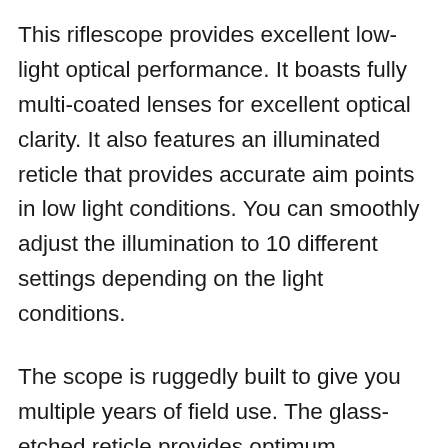This riflescope provides excellent low-light optical performance. It boasts fully multi-coated lenses for excellent optical clarity. It also features an illuminated reticle that provides accurate aim points in low light conditions. You can smoothly adjust the illumination to 10 different settings depending on the light conditions.
The scope is ruggedly built to give you multiple years of field use. The glass-etched reticle provides optimum durability and reliability, while the shockproof housing stands up to harsh recoil and